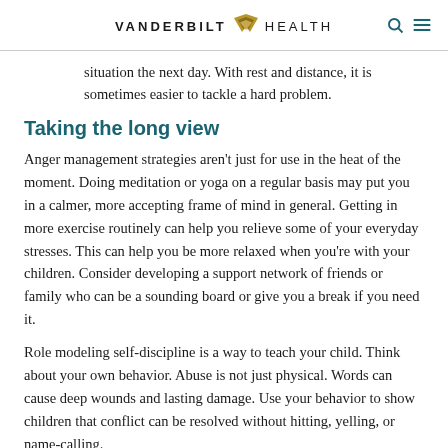VANDERBILT V HEALTH
situation the next day. With rest and distance, it is sometimes easier to tackle a hard problem.
Taking the long view
Anger management strategies aren't just for use in the heat of the moment. Doing meditation or yoga on a regular basis may put you in a calmer, more accepting frame of mind in general. Getting in more exercise routinely can help you relieve some of your everyday stresses. This can help you be more relaxed when you're with your children. Consider developing a support network of friends or family who can be a sounding board or give you a break if you need it.
Role modeling self-discipline is a way to teach your child. Think about your own behavior. Abuse is not just physical. Words can cause deep wounds and lasting damage. Use your behavior to show children that conflict can be resolved without hitting, yelling, or name-calling.